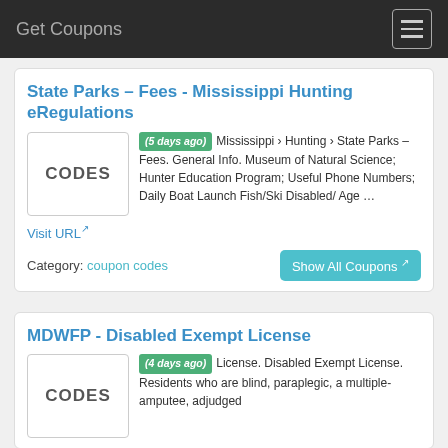Get Coupons
State Parks – Fees - Mississippi Hunting eRegulations
[Figure (other): CODES thumbnail box]
(5 days ago) Mississippi › Hunting › State Parks – Fees. General Info. Museum of Natural Science; Hunter Education Program; Useful Phone Numbers; Daily Boat Launch Fish/Ski Disabled/ Age …
Visit URL
Category: coupon codes
Show All Coupons
MDWFP - Disabled Exempt License
[Figure (other): CODES thumbnail box]
(4 days ago) License. Disabled Exempt License. Residents who are blind, paraplegic, a multiple-amputee, adjudged